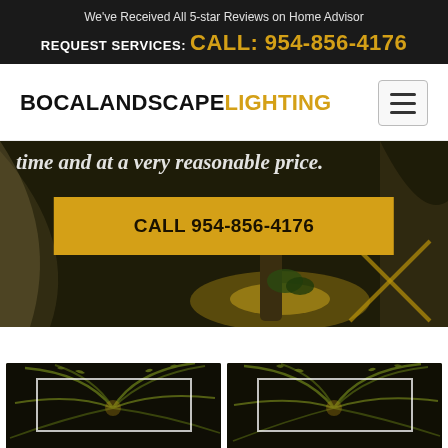We've Received All 5-star Reviews on Home Advisor
REQUEST SERVICES: CALL: 954-856-4176
BOCA LANDSCAPE LIGHTING
time and at a very reasonable price.
CALL 954-856-4176
[Figure (photo): Landscape lighting scene showing illuminated garden with palm tree, fabric draping, and warm yellow-green ground lighting at night]
[Figure (photo): Thumbnail of landscape lighting with fern/palm fronds against dark background, with white rectangle overlay]
[Figure (photo): Thumbnail of landscape lighting with fern/palm fronds against dark background, with white rectangle overlay]